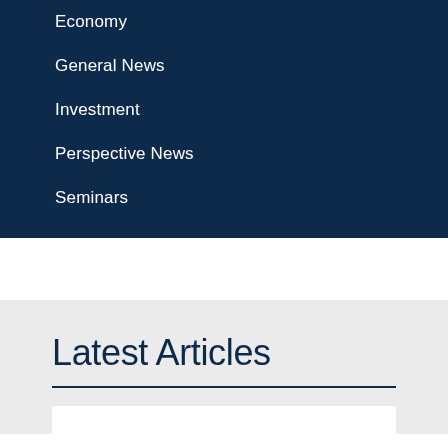Economy
General News
Investment
Perspective News
Seminars
Latest Articles